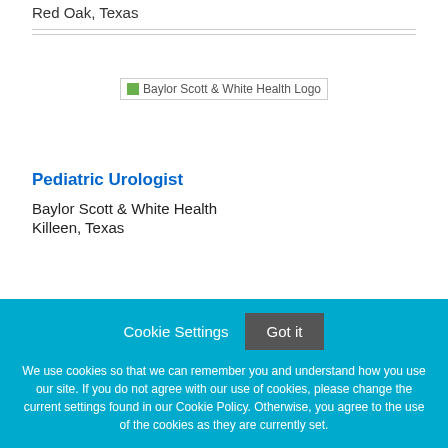Red Oak, Texas
[Figure (logo): Baylor Scott & White Health Logo]
Pediatric Urologist
Baylor Scott & White Health
Killeen, Texas
Cookie Settings
Got it
We use cookies so that we can remember you and understand how you use our site. If you do not agree with our use of cookies, please change the current settings found in our Cookie Policy. Otherwise, you agree to the use of the cookies as they are currently set.